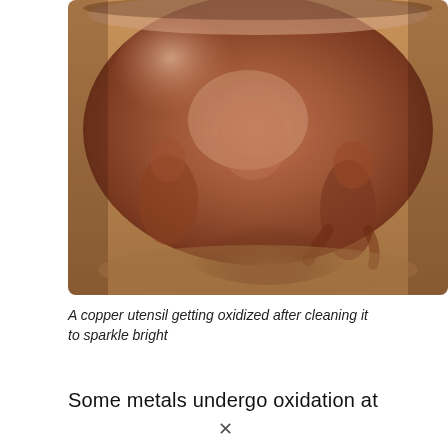[Figure (photo): A shiny copper utensil (bowl or pot) photographed from above at an angle, showing a reddish-brown metallic surface with reflections of people holding the object, against a light background. The copper surface shows signs of oxidation after cleaning.]
A copper utensil getting oxidized after cleaning it to sparkle bright
Some metals undergo oxidation at